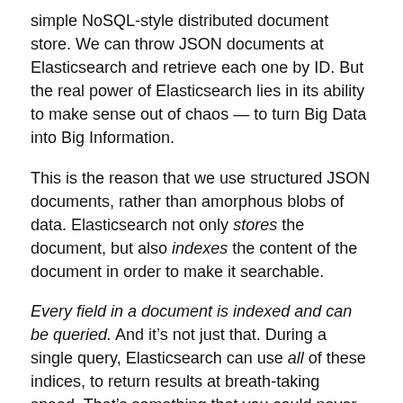simple NoSQL-style distributed document store. We can throw JSON documents at Elasticsearch and retrieve each one by ID. But the real power of Elasticsearch lies in its ability to make sense out of chaos — to turn Big Data into Big Information.
This is the reason that we use structured JSON documents, rather than amorphous blobs of data. Elasticsearch not only stores the document, but also indexes the content of the document in order to make it searchable.
Every field in a document is indexed and can be queried. And it's not just that. During a single query, Elasticsearch can use all of these indices, to return results at breath-taking speed. That's something that you could never consider doing with a traditional database.
A search can be any of the following: